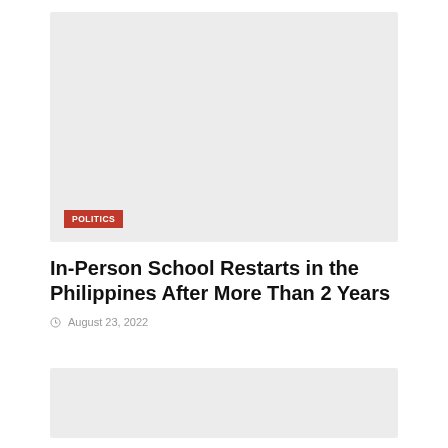[Figure (photo): Large image placeholder with light grey background, POLITICS badge overlay in bottom-left corner]
In-Person School Restarts in the Philippines After More Than 2 Years
August 23, 2022
[Figure (photo): Second image placeholder with light grey background at bottom of page]